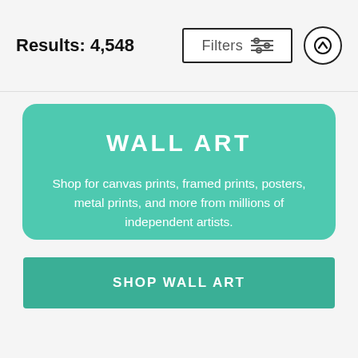Results: 4,548
[Figure (screenshot): Filters button with sliders icon and up-arrow circle button in the header bar]
WALL ART
Shop for canvas prints, framed prints, posters, metal prints, and more from millions of independent artists.
SHOP WALL ART